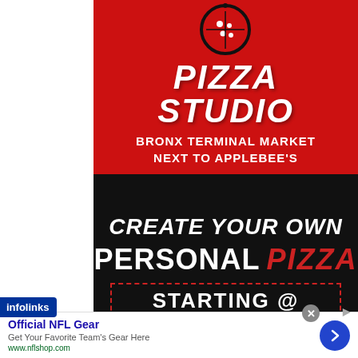[Figure (illustration): Pizza Studio advertisement. Red top section with pizza icon logo and 'PIZZA STUDIO' text. Location text: 'BRONX TERMINAL MARKET NEXT TO APPLEBEE'S'. Black bottom section with 'CREATE YOUR OWN PERSONAL PIZZA STARTING @' text with dotted border box.]
infolinks
Official NFL Gear
Get Your Favorite Team's Gear Here
www.nflshop.com